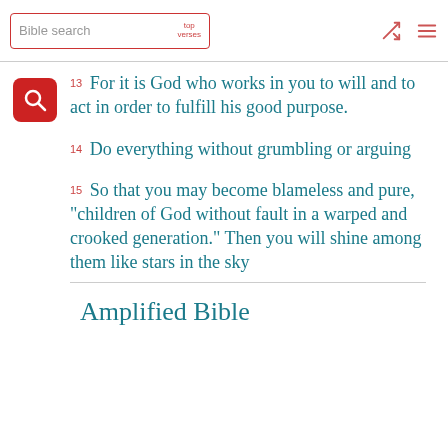Bible search | top verses
13 For it is God who works in you to will and to act in order to fulfill his good purpose.
14 Do everything without grumbling or arguing
15 So that you may become blameless and pure, "children of God without fault in a warped and crooked generation." Then you will shine among them like stars in the sky
Amplified Bible